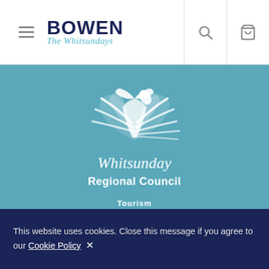[Figure (logo): Bowen The Whitsundays navigation logo with hamburger menu, search icon, and shopping cart icon in white header bar]
[Figure (logo): Whitsunday Regional Council logo - white feather/bird graphic on teal background with text 'Whitsunday Regional Council']
[Figure (logo): Tourism Whitsundays logo - white text on teal background with tagline 'Destination Marketing | Industry Development | Visitor Services']
This website uses cookies. Close this message if you agree to our Cookie Policy ✕